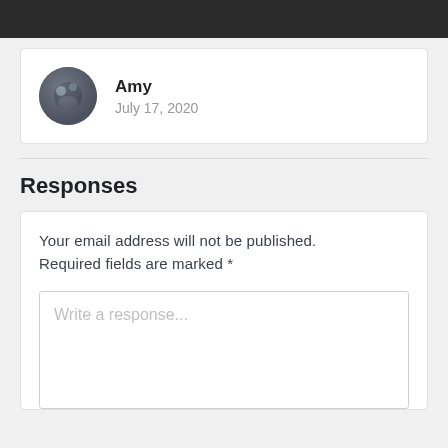[Figure (photo): Dark navigation bar at the top of the page]
Amy
July 17, 2020
Responses
Your email address will not be published. Required fields are marked *
Write a response...